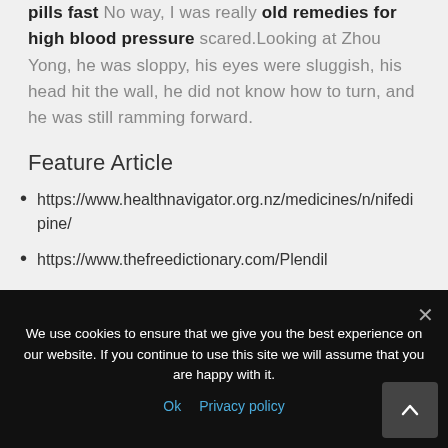pills fast No way, I was really old remedies for high blood pressure scared. Looking at Zhou Yong, he was sloppy, his eyes were sluggish, his head hit the wall, he did not know how to turn, and he was still ramming forward.
Feature Article
https://www.healthnavigator.org.nz/medicines/n/nifedipine/
https://www.thefreedictionary.com/Plendil
We use cookies to ensure that we give you the best experience on our website. If you continue to use this site we will assume that you are happy with it.
Ok   Privacy policy